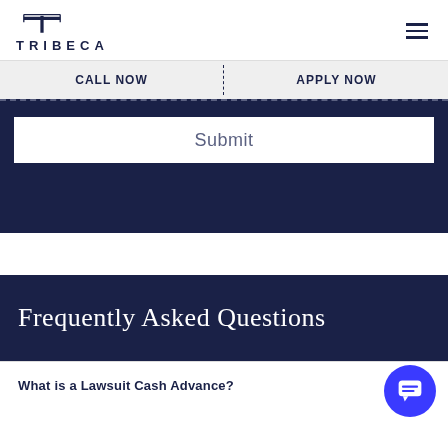[Figure (logo): Tribeca logo with stylized T icon and TRIBECA text]
CALL NOW | APPLY NOW
Submit
Frequently Asked Questions
What is a Lawsuit Cash Advance?